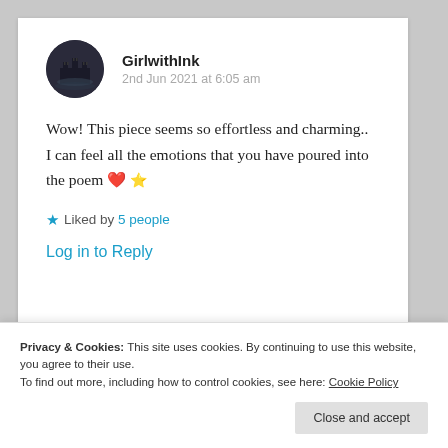GirlwithInk
2nd Jun 2021 at 6:05 am
Wow! This piece seems so effortless and charming.. I can feel all the emotions that you have poured into the poem ❤️ 🌟
★ Liked by 5 people
Log in to Reply
Privacy & Cookies: This site uses cookies. By continuing to use this website, you agree to their use.
To find out more, including how to control cookies, see here: Cookie Policy
Close and accept
2nd Jun 2021 at 11:24 am